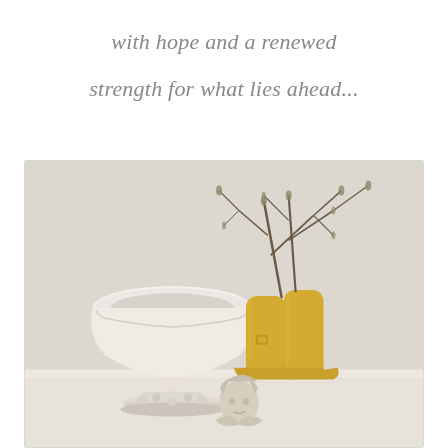with hope and a renewed
strength for what lies ahead...
[Figure (photo): A still-life photograph showing a white decorative urn/pedestal bowl on the left, a pair of yellow rubber rain boots used as a vase holding bare winter branches with small buds, and a small cherub/angel figurine in the foreground, all arranged on a white surface against a light grey wall.]